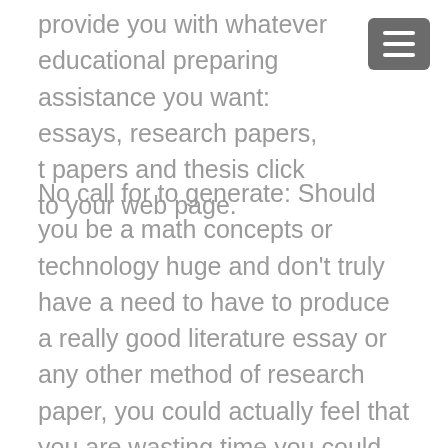provide you with whatever educational preparing assistance you want: essays, research papers, t papers and thesis click to your web page.
No call for to generate: Should you be a math concepts or technology huge and don't truly have a need to have to produce a really good literature essay or any other method of research paper, you could actually feel that you are wasting time you could be shelling out getting to know arithmetic or executing research which will bring you a better high quality inside a system that runs when it comes to your noticeable. But that ridiculous study paper is employing up all of your current time – without having to to indicate providing a throbbing headache for the reason that you probably aren't that efficient at constructing essays at any rate.